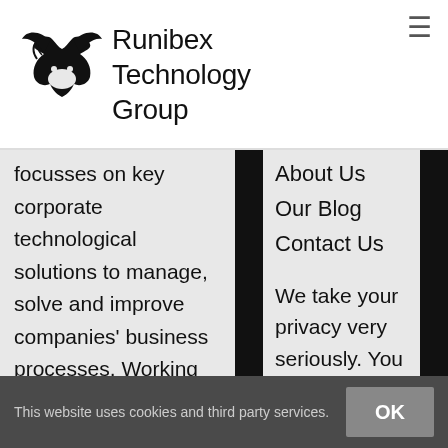[Figure (logo): Runibex Technology Group logo: stylized fox/animal head silhouette in black, with company name text beside it]
focusses on key corporate technological solutions to manage, solve and improve companies' business processes. Working
About Us
Our Blog
Contact Us
We take your privacy very seriously. You can read our policies here.
This website uses cookies and third party services.
OK